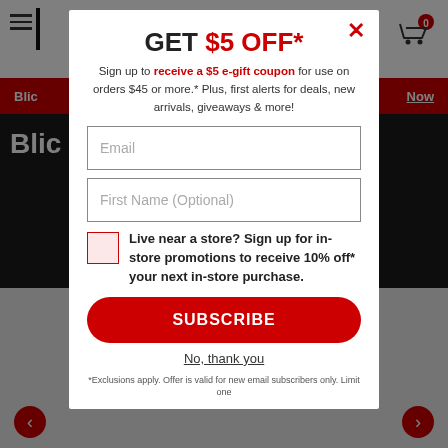GET $5 OFF*
Sign up to receive a $5 e-gift coupon for use on orders $45 or more.* Plus, first alerts for deals, new arrivals, giveaways & more!
Email
First Name (Optional)
Live near a store? Sign up for in-store promotions to receive 10% off* your next in-store purchase.
SUBSCRIBE
No, thank you
*Exclusions apply. Offer is valid for new email subscribers only. Limit one